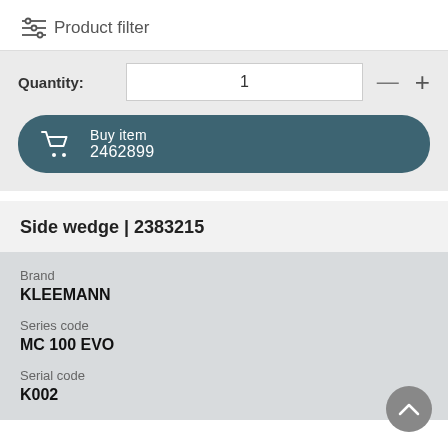Product filter
Quantity: 1
Buy item 2462899
Side wedge | 2383215
Brand
KLEEMANN
Series code
MC 100 EVO
Serial code
K002